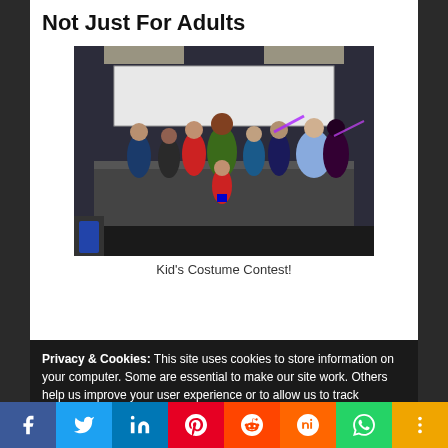Not Just For Adults
[Figure (photo): Group of children in costumes on a stage at a convention, posing for a photo. A girl dressed as Wonder Woman sits in front center. Various superhero and fantasy costumes visible throughout.]
Kid's Costume Contest!
Privacy & Cookies: This site uses cookies to store information on your computer. Some are essential to make our site work. Others help us improve your user experience or to allow us to track behavior and user patterns. Our Policy
f  Twitter  in  Pinterest  Reddit  Mix  WhatsApp  +